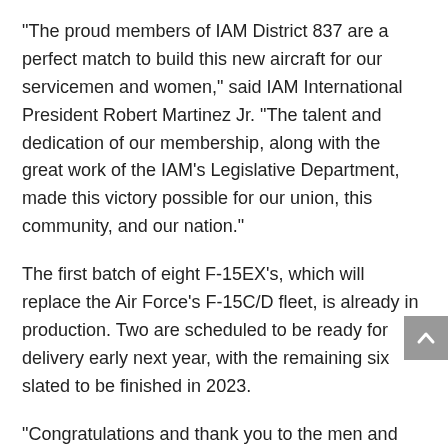“The proud members of IAM District 837 are a perfect match to build this new aircraft for our servicemen and women,” said IAM International President Robert Martinez Jr. “The talent and dedication of our membership, along with the great work of the IAM’s Legislative Department, made this victory possible for our union, this community, and our nation.”
The first batch of eight F-15EX’s, which will replace the Air Force’s F-15C/D fleet, is already in production. Two are scheduled to be ready for delivery early next year, with the remaining six slated to be finished in 2023.
“Congratulations and thank you to the men and women of IAM District 837 for their hard work and dedication to supplying our nation’s armed forces,” said IAM Midwest Territory General Vice President Steve Galloway. “And thank you to the IAM Legislative Department for their hard work in always ensuring IAM